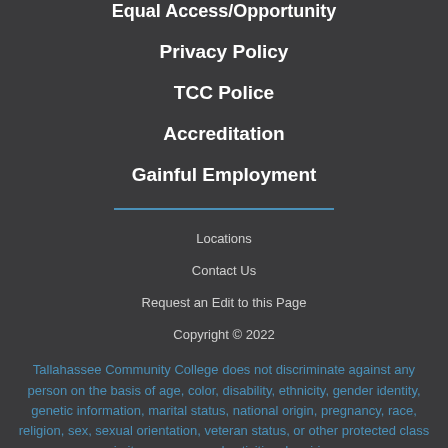Equal Access/Opportunity
Privacy Policy
TCC Police
Accreditation
Gainful Employment
Locations
Contact Us
Request an Edit to this Page
Copyright © 2022
Tallahassee Community College does not discriminate against any person on the basis of age, color, disability, ethnicity, gender identity, genetic information, marital status, national origin, pregnancy, race, religion, sex, sexual orientation, veteran status, or other protected class in its programs and activities. Inquiries